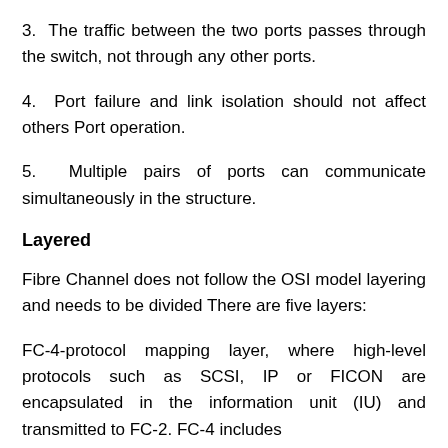3.  The traffic between the two ports passes through the switch, not through any other ports.
4.  Port failure and link isolation should not affect others Port operation.
5.  Multiple pairs of ports can communicate simultaneously in the structure.
Layered
Fibre Channel does not follow the OSI model layering and needs to be divided There are five layers:
FC-4-protocol mapping layer, where high-level protocols such as SCSI, IP or FICON are encapsulated in the information unit (IU) and transmitted to FC-2. FC-4 includes